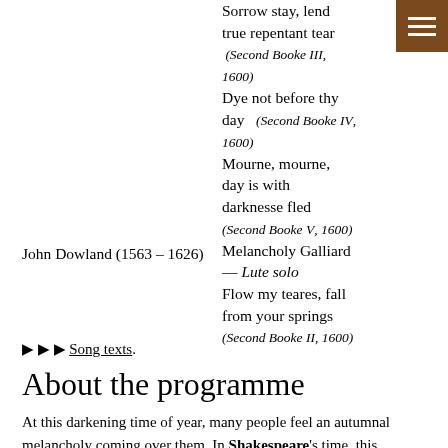Sorrow stay, lend true repentant tear (Second Booke III, 1600) Dye not before thy day (Second Booke IV, 1600) Mourne, mourne, day is with darknesse fled (Second Booke V, 1600) Melancholy Galliard — Lute solo Flow my teares, fall from your springs (Second Booke II, 1600)
John Dowland (1563 – 1626)
▶▶▶ Song texts.
About the programme
At this darkening time of year, many people feel an autumnal melancholy coming over them. In Shakespeare's time, this 'humour' was considered to be an appropriate state of mind for artistic endeavours and philosophic reflections, as it encouraged looking